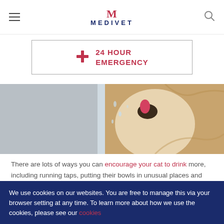MEDIVET
24 HOUR EMERGENCY
[Figure (photo): A cat drinking from a running water tap, close-up of cat's face and tongue touching water stream]
There are lots of ways you can encourage your cat to drink more, including running taps, putting their bowls in unusual places and flavouring their drinking water.
We use cookies on our websites. You are free to manage this via your browser setting at any time. To learn more about how we use the cookies, please see our cookies